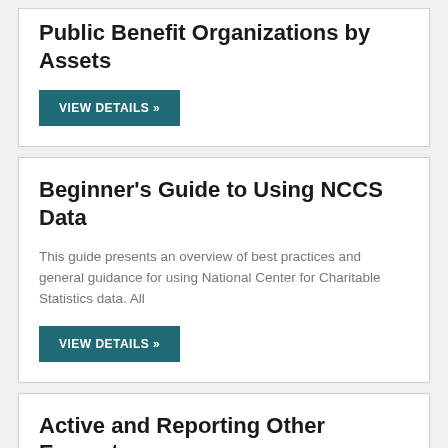Public Benefit Organizations by Assets
VIEW DETAILS »
Beginner's Guide to Using NCCS Data
This guide presents an overview of best practices and general guidance for using National Center for Charitable Statistics data. All
VIEW DETAILS »
Active and Reporting Other Exempt